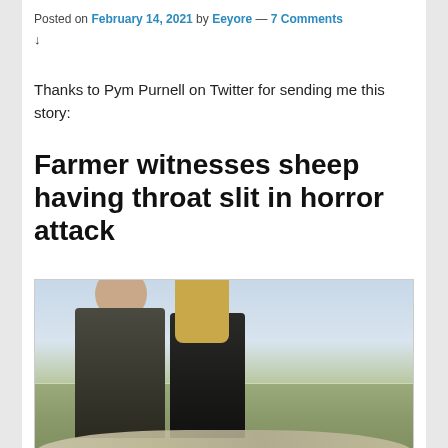Posted on February 14, 2021 by Eeyore — 7 Comments ↓
Thanks to Pym Purnell on Twitter for sending me this story:
Farmer witnesses sheep having throat slit in horror attack
[Figure (photo): A man and a woman standing together outdoors on a farm, with green fields, trees and a fence visible in the background and sheep visible in the foreground and background.]